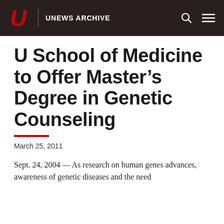U UNEWS ARCHIVE
U School of Medicine to Offer Master's Degree in Genetic Counseling
March 25, 2011
Sept. 24, 2004 — As research on human genes advances, awareness of genetic diseases and the need